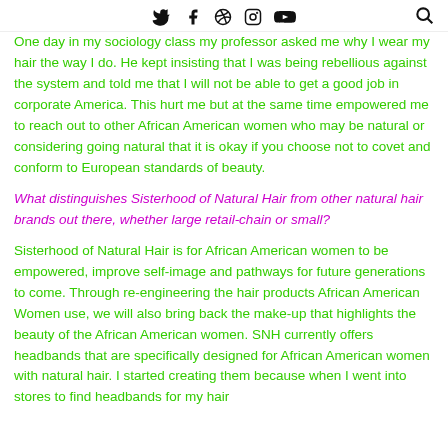social icons: Twitter, Facebook, Pinterest, Instagram, YouTube, Search
One day in my sociology class my professor asked me why I wear my hair the way I do. He kept insisting that I was being rebellious against the system and told me that I will not be able to get a good job in corporate America. This hurt me but at the same time empowered me to reach out to other African American women who may be natural or considering going natural that it is okay if you choose not to covet and conform to European standards of beauty.
What distinguishes Sisterhood of Natural Hair from other natural hair brands out there, whether large retail-chain or small?
Sisterhood of Natural Hair is for African American women to be empowered, improve self-image and pathways for future generations to come. Through re-engineering the hair products African American Women use, we will also bring back the make-up that highlights the beauty of the African American women. SNH currently offers headbands that are specifically designed for African American women with natural hair. I started creating them because when I went into stores to find headbands for my hair